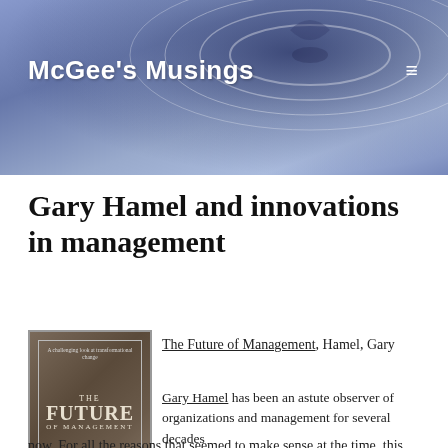McGee's Musings
Gary Hamel and innovations in management
[Figure (photo): Book cover of 'The Future of Management' by Gary Hamel]
The Future of Management, Hamel, Gary
Gary Hamel has been an astute observer of organizations and management for several decades now. For all the reasons that seemed to make sense at the time, this book sat on my shelf for a while